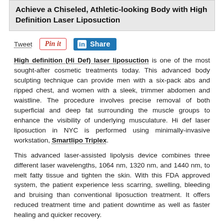Achieve a Chiseled, Athletic-looking Body with High Definition Laser Liposuction
[Figure (infographic): Social sharing buttons: Tweet link, Pin it button, LinkedIn Share button]
High definition (Hi Def) laser liposuction is one of the most sought-after cosmetic treatments today. This advanced body sculpting technique can provide men with a six-pack abs and ripped chest, and women with a sleek, trimmer abdomen and waistline. The procedure involves precise removal of both superficial and deep fat surrounding the muscle groups to enhance the visibility of underlying musculature. Hi def laser liposuction in NYC is performed using minimally-invasive workstation, Smartlipo Triplex.
This advanced laser-assisted lipolysis device combines three different laser wavelengths, 1064 nm, 1320 nm, and 1440 nm, to melt fatty tissue and tighten the skin. With this FDA approved system, the patient experience less scarring, swelling, bleeding and bruising than conventional liposuction treatment. It offers reduced treatment time and patient downtime as well as faster healing and quicker recovery.
Candidate for High Definition Liposuction
You may be a candidate for high definition liposuction, if you